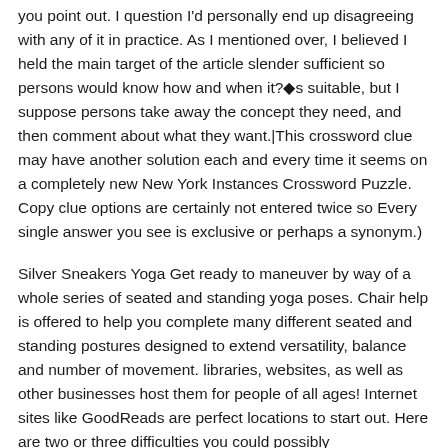you point out. I question I'd personally end up disagreeing with any of it in practice. As I mentioned over, I believed I held the main target of the article slender sufficient so persons would know how and when it?s suitable, but I suppose persons take away the concept they need, and then comment about what they want.|This crossword clue may have another solution each and every time it seems on a completely new New York Instances Crossword Puzzle. Copy clue options are certainly not entered twice so Every single answer you see is exclusive or perhaps a synonym.)
Silver Sneakers Yoga Get ready to maneuver by way of a whole series of seated and standing yoga poses. Chair help is offered to help you complete many different seated and standing postures designed to extend versatility, balance and number of movement. libraries, websites, as well as other businesses host them for people of all ages! Internet sites like GoodReads are perfect locations to start out. Here are two or three difficulties you could possibly test:|Feedback will probably be despatched to Microsoft: By urgent the post button, your suggestions is going to be applied to improve Microsoft products and services. Privacy coverage.|Spencer Platt/Getty Photographs Check fraud has spiked during the U.S. as intruders use age-old methods to swindle